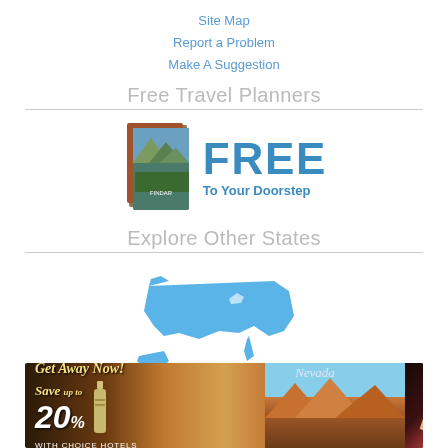Site Map
Report a Problem
Make A Suggestion
Free Travel Planners
[Figure (illustration): Travel planner booklets with mountain scenery on cover, next to large blue FREE text and 'To Your Doorstep' subtitle]
Explore Other States
[Figure (map): Blue silhouette map of the United States including Alaska]
Partners
[Figure (logo): Go Travel Sites logo in italic gold/yellow text with arrow]
[Figure (photo): Nevada advertisement banner: Get Away Now! Save up to 20% with Choice Hotels, featuring desert landscape and woman in red dress]